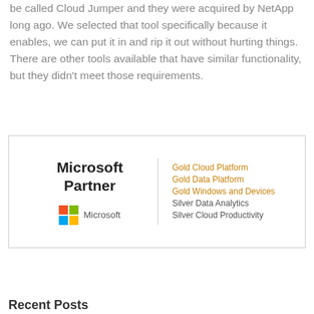be called Cloud Jumper and they were acquired by NetApp long ago. We selected that tool specifically because it enables, we can put it in and rip it out without hurting things. There are other tools available that have similar functionality, but they didn't meet those requirements.
[Figure (logo): Microsoft Partner badge showing Gold Cloud Platform, Gold Data Platform, Gold Windows and Devices, Silver Data Analytics, Silver Cloud Productivity competencies, with Microsoft four-color logo.]
Recent Posts